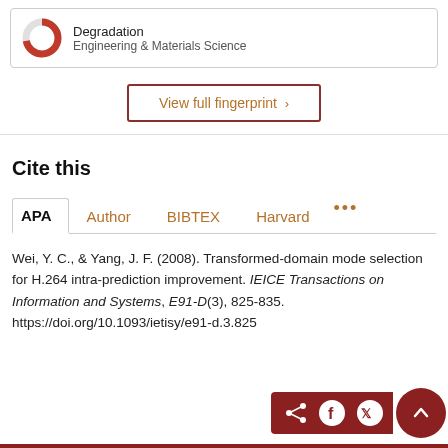[Figure (other): Donut chart icon with red color, partially filled, representing 'Degradation' topic in Engineering & Materials Science]
Degradation
Engineering & Materials Science
View full fingerprint >
Cite this
APA  Author  BIBTEX  Harvard  ...
Wei, Y. C., & Yang, J. F. (2008). Transformed-domain mode selection for H.264 intra-prediction improvement. IEICE Transactions on Information and Systems, E91-D(3), 825-835. https://doi.org/10.1093/ietisy/e91-d.3.825